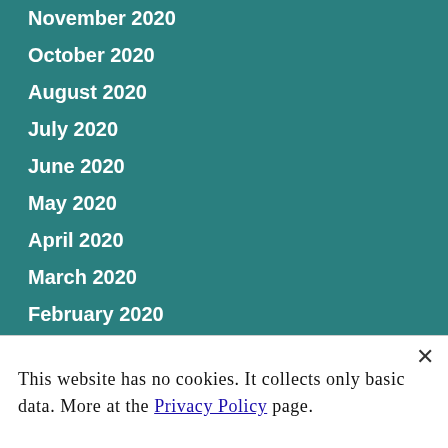November 2020
October 2020
August 2020
July 2020
June 2020
May 2020
April 2020
March 2020
February 2020
January 2020
December 2019
This website has no cookies. It collects only basic data. More at the Privacy Policy page.